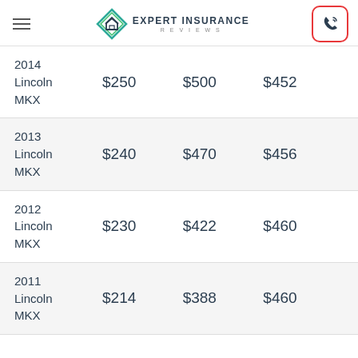Expert Insurance Reviews
| Vehicle | Col1 | Col2 | Col3 |
| --- | --- | --- | --- |
| 2014 Lincoln MKX | $250 | $500 | $452 |
| 2013 Lincoln MKX | $240 | $470 | $456 |
| 2012 Lincoln MKX | $230 | $422 | $460 |
| 2011 Lincoln MKX | $214 | $388 | $460 |